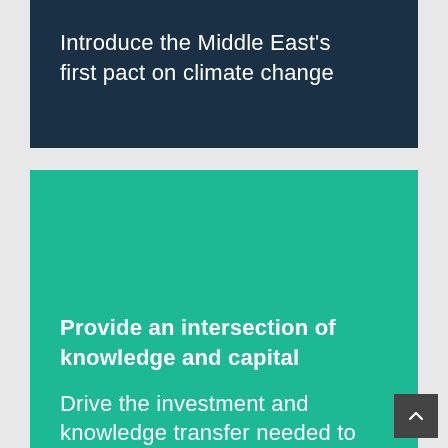Introduce the Middle East's first pact on climate change
Provide an intersection of knowledge and capital
Drive the investment and knowledge transfer needed to